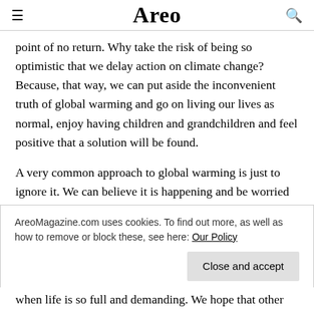Areo
point of no return. Why take the risk of being so optimistic that we delay action on climate change? Because, that way, we can put aside the inconvenient truth of global warming and go on living our lives as normal, enjoy having children and grandchildren and feel positive that a solution will be found.
A very common approach to global warming is just to ignore it. We can believe it is happening and be worried about the increasing occurrence of droughts, out-of-
AreoMagazine.com uses cookies. To find out more, as well as how to remove or block these, see here: Our Policy
Close and accept
when life is so full and demanding. We hope that other